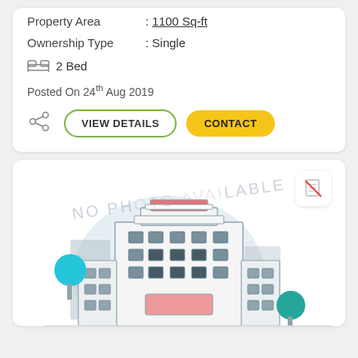Property Area : 1100 Sq-ft
Ownership Type : Single
2 Bed
Posted On 24th Aug 2019
VIEW DETAILS
CONTACT
[Figure (illustration): No photo available placeholder with a building illustration showing a multi-story apartment or office building with trees and signage. Watermark text reading NO PHOTO AVAILABLE. A no-document icon in upper right corner.]